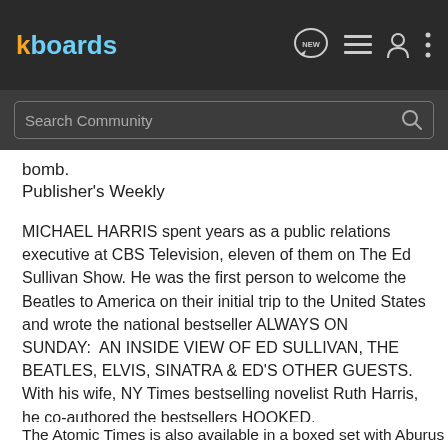kboards
bomb.
Publisher's Weekly
MICHAEL HARRIS spent years as a public relations executive at CBS Television, eleven of them on The Ed Sullivan Show. He was the first person to welcome the Beatles to America on their initial trip to the United States and wrote the national bestseller ALWAYS ON SUNDAY:  AN INSIDE VIEW OF ED SULLIVAN, THE BEATLES, ELVIS, SINATRA & ED'S OTHER GUESTS.  With his wife, NY Times bestselling novelist Ruth Harris, he co-authored the bestsellers HOOKED, BRAINWASHED and KILLER THRILLERS.  All his books are now on Kindle.
The Atomic Times is also available in a boxed set with Aburus